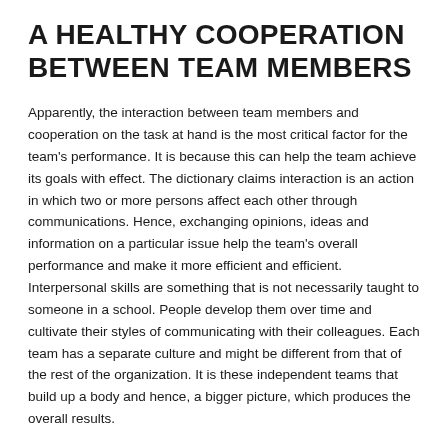A HEALTHY COOPERATION BETWEEN TEAM MEMBERS
Apparently, the interaction between team members and cooperation on the task at hand is the most critical factor for the team's performance. It is because this can help the team achieve its goals with effect. The dictionary claims interaction is an action in which two or more persons affect each other through communications. Hence, exchanging opinions, ideas and information on a particular issue help the team's overall performance and make it more efficient and efficient. Interpersonal skills are something that is not necessarily taught to someone in a school. People develop them over time and cultivate their styles of communicating with their colleagues. Each team has a separate culture and might be different from that of the rest of the organization. It is these independent teams that build up a body and hence, a bigger picture, which produces the overall results.